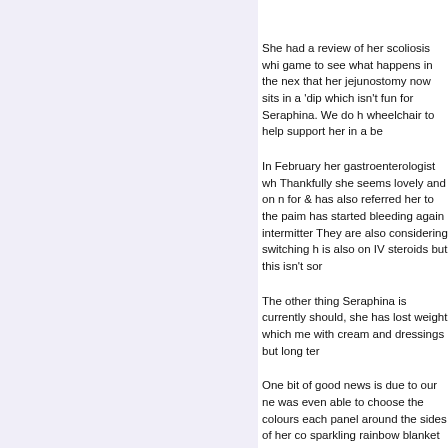She had a review of her scoliosis whi game to see what happens in the nex that her jejunostomy now sits in a 'dip which isn't fun for Seraphina. We do h wheelchair to help support her in a be
In February her gastroenterologist wh Thankfully she seems lovely and on n for & has also referred her to the paim has started bleeding again intermitter They are also considering switching h is also on IV steroids but this isn't sor
The other thing Seraphina is currently should, she has lost weight which me with cream and dressings but long ter
One bit of good news is due to our ne was even able to choose the colours each panel around the sides of her co sparkling rainbow blanket to go with h
Thank you to everyone that has sent smile to her face even on the toughes